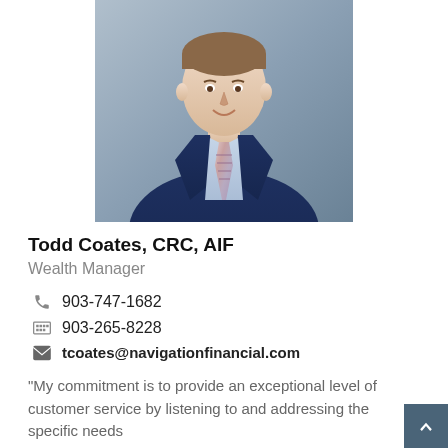[Figure (photo): Professional headshot of Todd Coates, a man in a navy blue suit with a pink striped tie, smiling against a grey background.]
Todd Coates, CRC, AIF
Wealth Manager
903-747-1682
903-265-8228
tcoates@navigationfinancial.com
"My commitment is to provide an exceptional level of customer service by listening to and addressing the specific needs